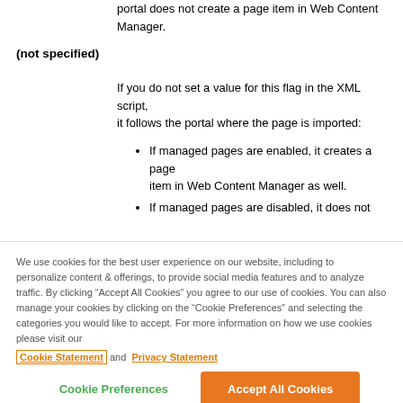portal does not create a page item in Web Content Manager.
(not specified)
If you do not set a value for this flag in the XML script, it follows the portal where the page is imported:
If managed pages are enabled, it creates a page item in Web Content Manager as well.
If managed pages are disabled, it does not
We use cookies for the best user experience on our website, including to personalize content & offerings, to provide social media features and to analyze traffic. By clicking “Accept All Cookies” you agree to our use of cookies. You can also manage your cookies by clicking on the “Cookie Preferences” and selecting the categories you would like to accept. For more information on how we use cookies please visit our Cookie Statement and Privacy Statement
Cookie Preferences
Accept All Cookies